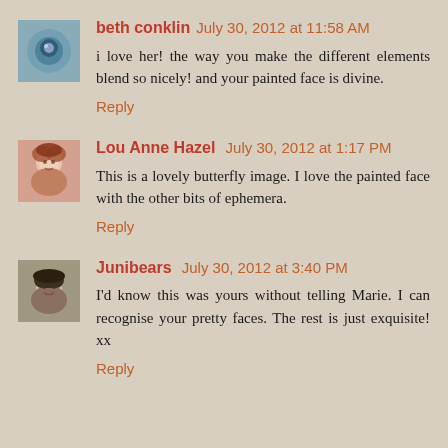[Figure (photo): Avatar image for beth conklin - circular blue/grey object]
beth conklin July 30, 2012 at 11:58 AM
i love her! the way you make the different elements blend so nicely! and your painted face is divine.
Reply
[Figure (photo): Avatar photo of Lou Anne Hazel - woman with red/auburn hair]
Lou Anne Hazel July 30, 2012 at 1:17 PM
This is a lovely butterfly image. I love the painted face with the other bits of ephemera.
Reply
[Figure (photo): Avatar photo of Junibears - person with dark hat]
Junibears July 30, 2012 at 3:40 PM
I'd know this was yours without telling Marie. I can recognise your pretty faces. The rest is just exquisite! xx
Reply